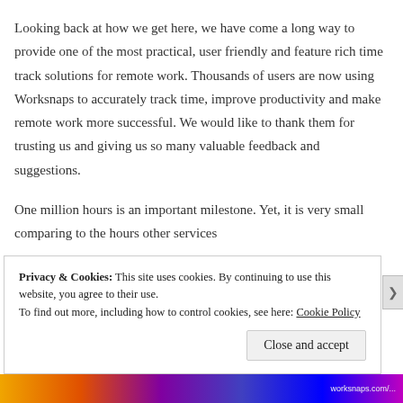Looking back at how we get here, we have come a long way to provide one of the most practical, user friendly and feature rich time track solutions for remote work. Thousands of users are now using Worksnaps to accurately track time, improve productivity and make remote work more successful. We would like to thank them for trusting us and giving us so many valuable feedback and suggestions.
One million hours is an important milestone. Yet, it is very small comparing to the hours other services
Privacy & Cookies: This site uses cookies. By continuing to use this website, you agree to their use.
To find out more, including how to control cookies, see here: Cookie Policy